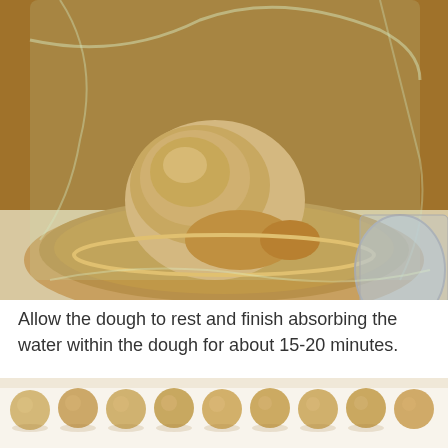[Figure (photo): A ball of dough resting in a ceramic bowl covered with plastic wrap, placed on a white surface.]
Allow the dough to rest and finish absorbing the water within the dough for about 15-20 minutes.
[Figure (photo): Multiple small round dough balls arranged in rows on a white surface.]